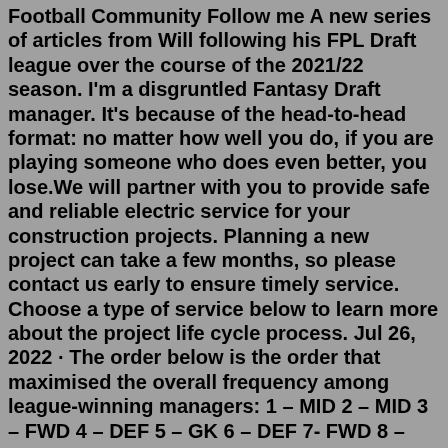Football Community Follow me A new series of articles from Will following his FPL Draft league over the course of the 2021/22 season. I'm a disgruntled Fantasy Draft manager. It's because of the head-to-head format: no matter how well you do, if you are playing someone who does even better, you lose.We will partner with you to provide safe and reliable electric service for your construction projects. Planning a new project can take a few months, so please contact us early to ensure timely service. Choose a type of service below to learn more about the project life cycle process. Jul 26, 2022 · The order below is the order that maximised the overall frequency among league-winning managers: 1 – MID 2 – MID 3 – FWD 4 – DEF 5 – GK 6 – DEF 7- FWD 8 – MID 9 – DEF 10 – MID 11 – MID 12 – DEF 13 – FWD 14 – DEF 15 – GK The captain of your team will receive double the amount of points, while the vice-captain is a back-up choice in case your original selection doesn't play, and thus the double points will be ... Jul 26, 2017 · See More: Bournemouth FPL